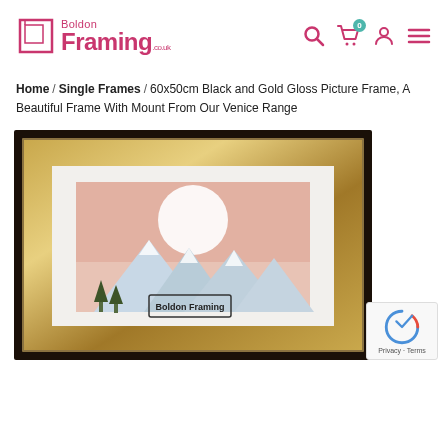[Figure (logo): Boldon Framing logo with pink/magenta text and a square bracket icon, plus navigation icons (search, cart with 0 badge, user, hamburger menu)]
Home / Single Frames / 60x50cm Black and Gold Gloss Picture Frame, A Beautiful Frame With Mount From Our Venice Range
[Figure (photo): Product photo of a 60x50cm Black and Gold Gloss Picture Frame (Venice Range) containing a landscape mountain artwork with pink sky. A reCAPTCHA badge is visible in the bottom right corner.]